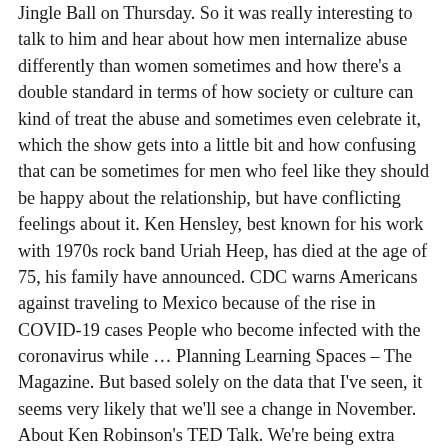Jingle Ball on Thursday. So it was really interesting to talk to him and hear about how men internalize abuse differently than women sometimes and how there’s a double standard in terms of how society or culture can kind of treat the abuse and sometimes even celebrate it, which the show gets into a little bit and how confusing that can be sometimes for men who feel like they should be happy about the relationship, but have conflicting feelings about it. Ken Hensley, best known for his work with 1970s rock band Uriah Heep, has died at the age of 75, his family have announced. CDC warns Americans against traveling to Mexico because of the rise in COVID-19 cases People who become infected with the coronavirus while … Planning Learning Spaces – The Magazine. But based solely on the data that I’ve seen, it seems very likely that we’ll see a change in November. About Ken Robinson's TED Talk. We’re being extra safe. Earlier this week I joined the Call to Unite – a 24 hour global live stream event where I shared my thoughts on how we can seize the opportunity to transform how we educate our children, and how we approach our relationship with the world we live in. She is a guest on this … Synergy and Team Building Since COVID Hit October 12, 2020 by mpw5189 2 Comments Due to the outbreak of the coronavirus (COVID-19), many companies forced their employees to … Contact Ken Palmer at (517) 377-1032 or kpalmer@lsj.com. The story itself I felt was going to hopefully challenge audiences.”. I relied heavily on Hannah for the research aspect because she had been running a writer’s room for